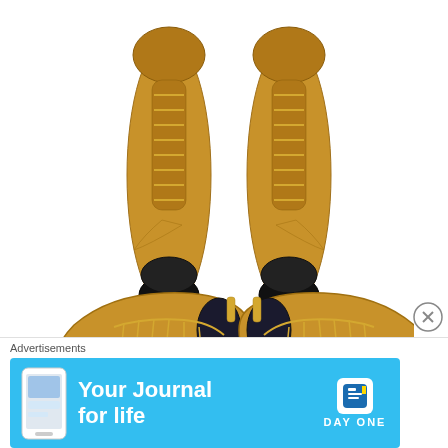[Figure (photo): Top-down view of a pair of gold Nike Air Max 97 sneakers on a white background]
[Figure (photo): Side/front 3/4 view of a pair of gold metallic Nike Air Max 97 sneakers on a white background]
Advertisements
[Figure (screenshot): Advertisement banner with blue background. Shows a phone with app, text 'Your Journal for life', and DAY ONE logo/brand on the right.]